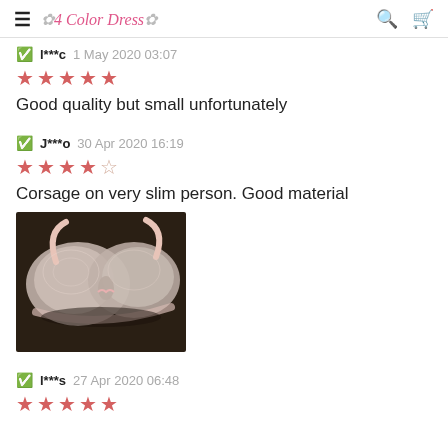4 Color Dress
l***c  1 May 2020 03:07
★★★★★
Good quality but small unfortunately
J***o  30 Apr 2020 16:19
★★★★☆
Corsage on very slim person. Good material
[Figure (photo): Photo of a light pink/grey bra on a dark background]
l***s  27 Apr 2020 06:48
★★★★★